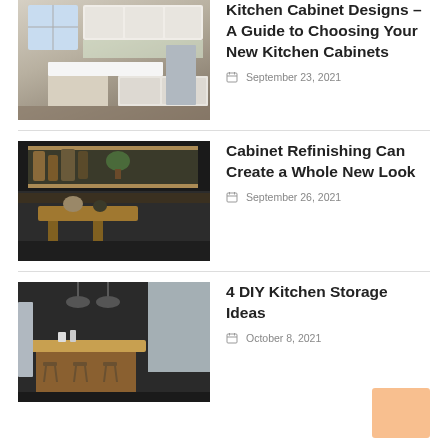[Figure (photo): White kitchen with island and cabinets]
Kitchen Cabinet Designs – A Guide to Choosing Your New Kitchen Cabinets
September 23, 2021
[Figure (photo): Dark modern kitchen with wood shelving and bar stools]
Cabinet Refinishing Can Create a Whole New Look
September 26, 2021
[Figure (photo): Dark kitchen with pendant lights and wooden island bar stools]
4 DIY Kitchen Storage Ideas
October 8, 2021